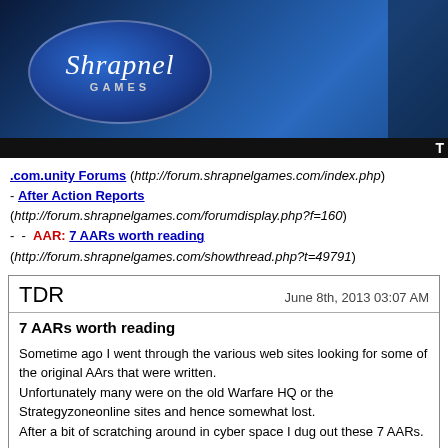[Figure (logo): Shrapnel Games logo banner with blue oval containing italic 'Shrapnel' text and 'GAMES' subtitle, dark blue gradient background with silhouette figure on right]
.com.unity Forums (http://forum.shrapnelgames.com/index.php)
- After Action Reports (http://forum.shrapnelgames.com/forumdisplay.php?f=160)
-  -  AAR: 7 AARs worth reading (http://forum.shrapnelgames.com/showthread.php?t=49791)
TDR
June 8th, 2013 03:07 AM
7 AARs worth reading
Sometime ago I went through the various web sites looking for some of the original AArs that were written.
Unfortunately many were on the old Warfare HQ or the Strategyzoneonline sites and hence somewhat lost.
After a bit of scratching around in cyber space I dug out these 7 AARs.

I have converted them from HTML to PDF but unfortunately they are big. Click on the link to down load the PDF file.
ATF-Death Valley Attack(KB).pdf - 2.76 MB